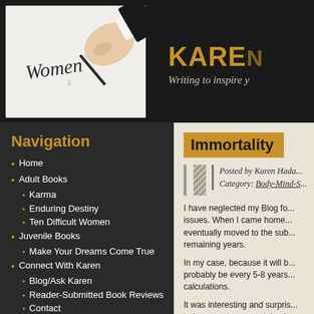[Figure (photo): Hand writing the word 'Women' with a pen on white paper]
KAREN
Writing to inspire y
Navigation
Home
Adult Books
Karma
Enduring Destiny
Ten Difficult Women
Juvenile Books
Make Your Dreams Come True
Connect With Karen
Blog/Ask Karen
Reader-Submitted Book Reviews
Contact
About Karen
Biography
Freelance Writing
Immortality
Posted by Karen Hada...
Category: Body-Mind-S...
I have neglected my Blog fo... issues. When I came home... eventually moved to the sub... remaining years.
In my case, because it will b... probably be every 5-8 years... calculations.
It was interesting and surpris... to hang-on to my mortal exis... feel the "goal" of life is to stic...